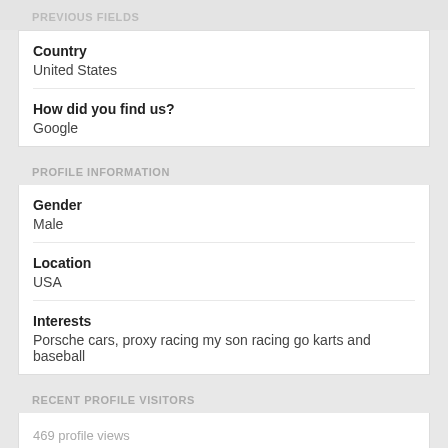PREVIOUS FIELDS
Country
United States
How did you find us?
Google
PROFILE INFORMATION
Gender
Male
Location
USA
Interests
Porsche cars, proxy racing my son racing go karts and baseball
RECENT PROFILE VISITORS
469 profile views